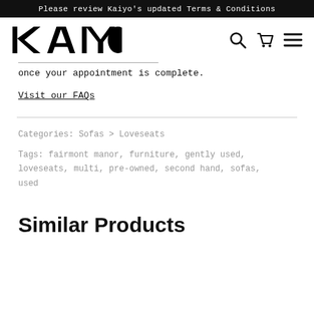Please review Kaiyo's updated Terms & Conditions
[Figure (logo): Kaiyo logo in bold black text with navigation icons (search, cart, menu)]
once your appointment is complete.
Visit our FAQs
Categories: Sofas > Loveseats
Tags: fairmont manor, furniture, gently used, loveseats, multi, pre-owned, second hand, sofas, used
Similar Products